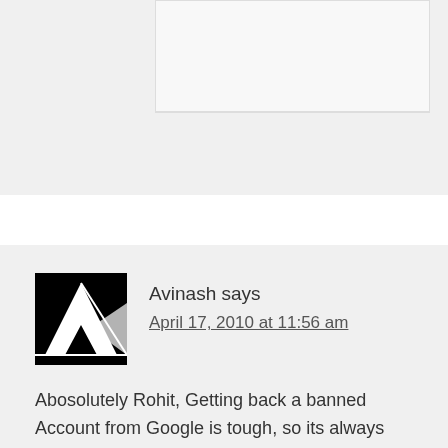[Figure (screenshot): Top portion of a webpage showing a partial comment form or content area with light gray background and bordered inner boxes.]
Avinash says
April 17, 2010 at 11:56 am

Abosolutely Rohit, Getting back a banned Account from Google is tough, so its always better to go by the rules instead of trying to bend them with Google, and if your only source of income / traffic is via Google. It better to play safe.

Reply